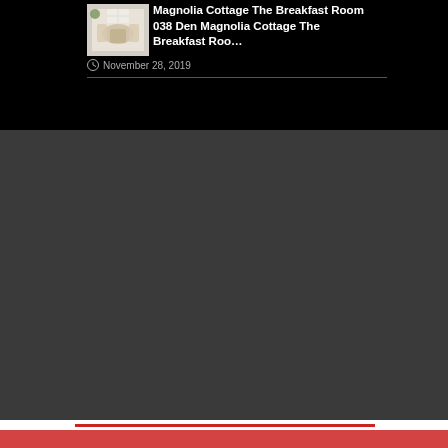[Figure (photo): Thumbnail image of a breakfast room interior with dining table and chairs, light-colored decor]
Magnolia Cottage The Breakfast Room 038 Den Magnolia Cottage The Breakfast Roo…
November 28, 2019